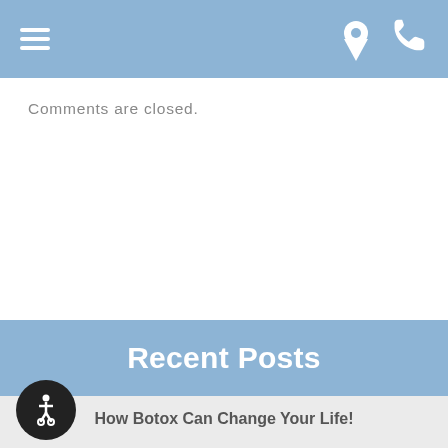Navigation bar with hamburger menu, location pin, and phone icons
Comments are closed.
Recent Posts
How Botox Can Change Your Life!
3 Benefits of Dental Implants
Everything You Need to Know About Dental Bone Grafting
What Exactly is a Dental Implant?